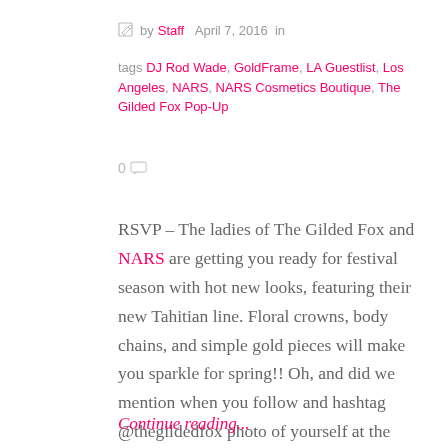by Staff  April 7, 2016  in
tags DJ Rod Wade, GoldFrame, LA Guestlist, Los Angeles, NARS, NARS Cosmetics Boutique, The Gilded Fox Pop-Up
0
RSVP – The ladies of The Gilded Fox and NARS are getting you ready for festival season with hot new looks, featuring their new Tahitian line. Floral crowns, body chains, and simple gold pieces will make you sparkle for spring!! Oh, and did we mention when you follow and hashtag @thegildedfox photo of yourself at the event, your entire purchase will be tax-free? shhhhh.. Pop in and indulge in complimentary
Continue reading...